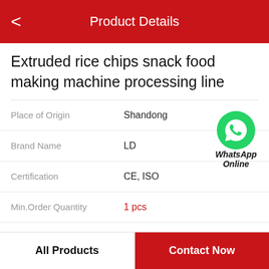Product Details
Extruded rice chips snack food making machine processing line
| Attribute | Value |
| --- | --- |
| Place of Origin | Shandong |
| Brand Name | LD |
| Certification | CE, ISO |
| Min.Order Quantity | 1 pcs |
| Price | $20,000.00 - $50,000.00 / Sets |
[Figure (logo): WhatsApp Online green circular icon with phone handset symbol, labeled WhatsApp Online in bold italic text]
All Products
Contact Now